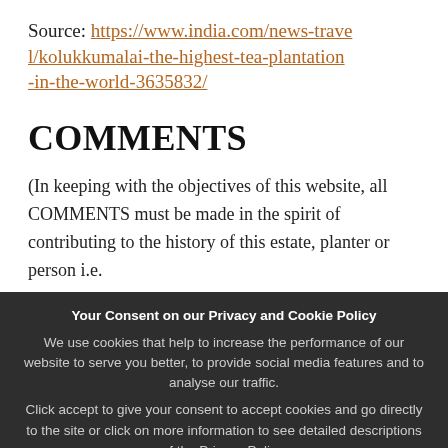Source: https://www.india.com/news-travel/kolukkumalai-the-highest-tea-plantation-in-the-world-3635832/
COMMENTS
(In keeping with the objectives of this website, all COMMENTS must be made in the spirit of contributing to the history of this estate, planter or person i.e.
Your Consent on our Privacy and Cookie Policy
We use cookies that help to increase the performance of our website to serve you better, to provide social media features and to analyse our traffic.
Click accept to give your consent to accept cookies and go directly to the site or click on more information to see detailed descriptions of the Privacy Policy.
View our Privacy & Cookie Policy, and Accept.